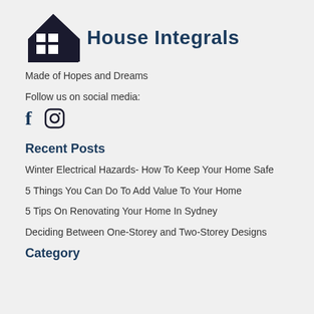[Figure (logo): House Integrals logo with dark house silhouette containing a window grid, and bold dark blue text 'House Integrals']
Made of Hopes and Dreams
Follow us on social media:
[Figure (other): Facebook and Instagram social media icons]
Recent Posts
Winter Electrical Hazards- How To Keep Your Home Safe
5 Things You Can Do To Add Value To Your Home
5 Tips On Renovating Your Home In Sydney
Deciding Between One-Storey and Two-Storey Designs
Category